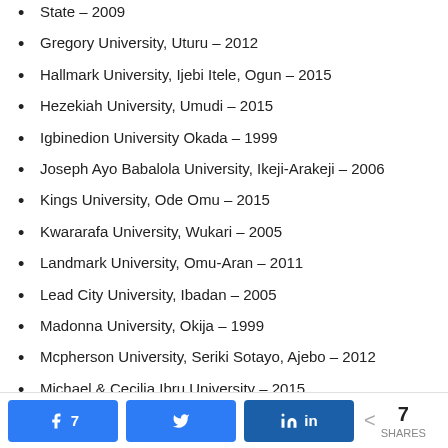State – 2009
Gregory University, Uturu – 2012
Hallmark University, Ijebi Itele, Ogun – 2015
Hezekiah University, Umudi – 2015
Igbinedion University Okada – 1999
Joseph Ayo Babalola University, Ikeji-Arakeji – 2006
Kings University, Ode Omu – 2015
Kwararafa University, Wukari – 2005
Landmark University, Omu-Aran – 2011
Lead City University, Ibadan – 2005
Madonna University, Okija – 1999
Mcpherson University, Seriki Sotayo, Ajebo – 2012
Michael & Cecilia Ibru University – 2015
Mountain Top University – 2015
Nile University of Nigeria, Abuja – 2009